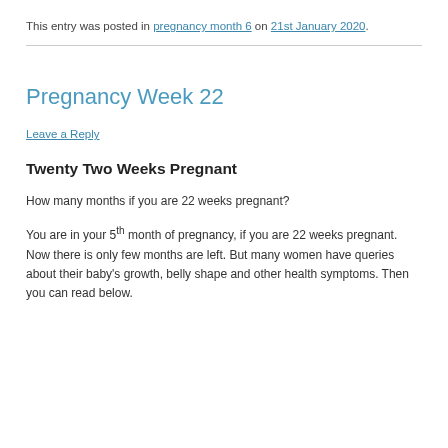This entry was posted in pregnancy month 6 on 21st January 2020.
Pregnancy Week 22
Leave a Reply
Twenty Two Weeks Pregnant
How many months if you are 22 weeks pregnant?
You are in your 5th month of pregnancy, if you are 22 weeks pregnant. Now there is only few months are left. But many women have queries about their baby's growth, belly shape and other health symptoms. Then you can read below.